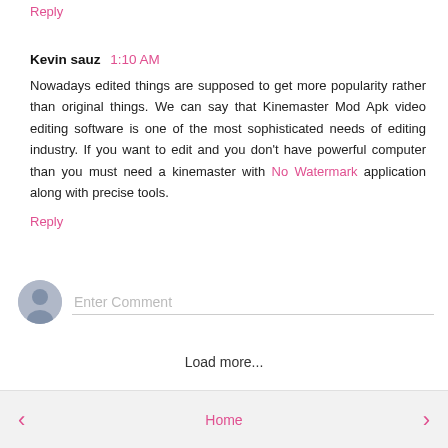Reply
Kevin sauz  1:10 AM
Nowadays edited things are supposed to get more popularity rather than original things. We can say that Kinemaster Mod Apk video editing software is one of the most sophisticated needs of editing industry. If you want to edit and you don't have powerful computer than you must need a kinemaster with No Watermark application along with precise tools.
Reply
Enter Comment
Load more...
< Home >